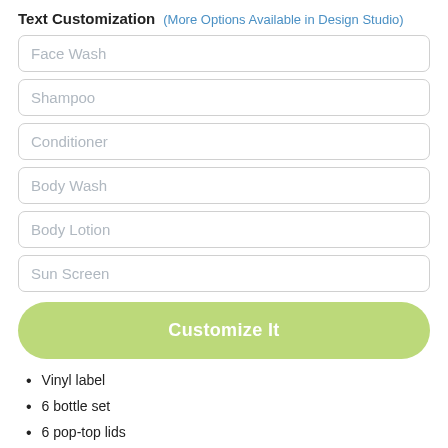Text Customization (More Options Available in Design Studio)
[Figure (other): Text input field with placeholder text 'Face Wash']
[Figure (other): Text input field with placeholder text 'Shampoo']
[Figure (other): Text input field with placeholder text 'Conditioner']
[Figure (other): Text input field with placeholder text 'Body Wash']
[Figure (other): Text input field with placeholder text 'Body Lotion']
[Figure (other): Text input field with placeholder text 'Sun Screen']
[Figure (other): Green button labeled 'Customize It']
Vinyl label
6 bottle set
6 pop-top lids
Approximatley 2.7 oz
Durable plastic